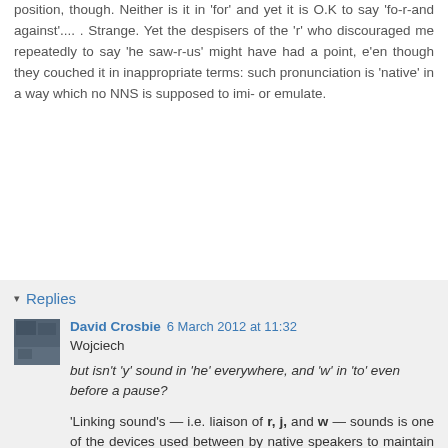position, though. Neither is it in 'for' and yet it is O.K to say 'fo-r-and against'.... . Strange. Yet the despisers of the 'r' who discouraged me repeatedly to say 'he saw-r-us' might have had a point, e'en though they couched it in inappropriate terms: such pronunciation is 'native' in a way which no NNS is supposed to imi- or emulate.
Reply
▾ Replies
David Crosbie  6 March 2012 at 11:32
Wojciech
but isn't 'y' sound in 'he' everywhere, and 'w' in 'to' even before a pause?
'Linking sound's — i.e. liaison of r, j, and w — sounds is one of the devices used between by native speakers to maintain the rhythm of spoken English, especially at higher speeds of delivery. Some speakers use different devices at word-final boundary, but liaison is easy to teach: easily